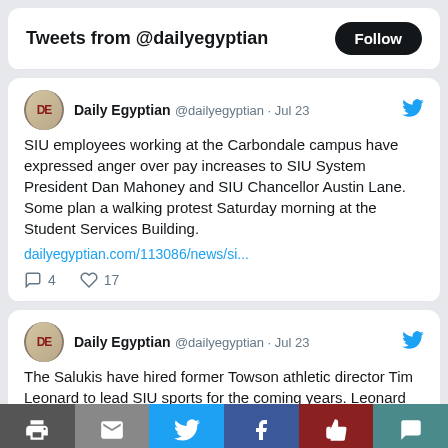Tweets from @dailyegyptian
Daily Egyptian @dailyegyptian · Jul 23
SIU employees working at the Carbondale campus have expressed anger over pay increases to SIU System President Dan Mahoney and SIU Chancellor Austin Lane. Some plan a walking protest Saturday morning at the Student Services Building.
dailyegyptian.com/113086/news/si...
4 comments · 17 likes
Daily Egyptian @dailyegyptian · Jul 23
The Salukis have hired former Towson athletic director Tim Leonard to lead SIU sports for the coming years. Leonard spent eight years at Towson (from 2013-2021) before joining...